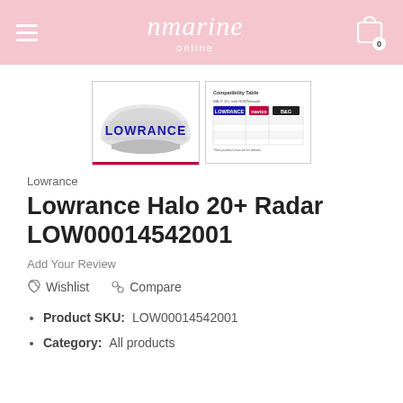nmarine online
[Figure (photo): Product photo of Lowrance Halo 20+ Radar dome, white with blue LOWRANCE branding text on the front]
[Figure (table-as-image): Compatibility table showing Lowrance, B&G brand compatibility chart for the Halo 20+ Radar]
Lowrance
Lowrance Halo 20+ Radar LOW00014542001
Add Your Review
Wishlist   Compare
Product SKU:    LOW00014542001
Category:   All products